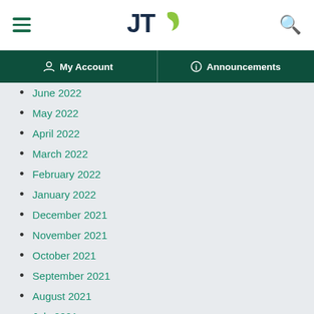JT — My Account | Announcements navigation header
June 2022
May 2022
April 2022
March 2022
February 2022
January 2022
December 2021
November 2021
October 2021
September 2021
August 2021
July 2021
June 2021
May 2021
April 2021